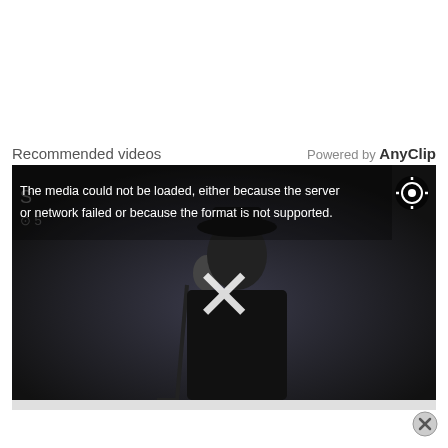Recommended videos
Powered by AnyClip
[Figure (screenshot): Video player showing a man singing at a microphone wearing a black hat and jacket, with a media error overlay displaying a large X and the message: The media could not be loaded, either because the server or network failed or because the format is not supported.]
[Figure (other): Close button (X in circle) at bottom right]